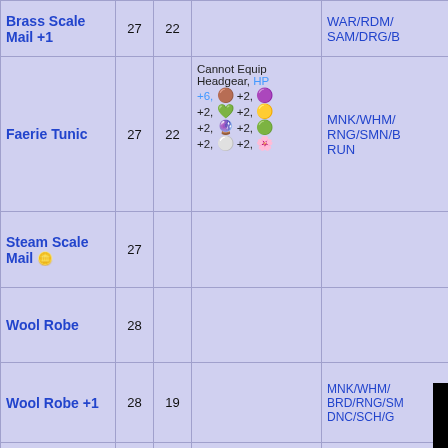| Item | Lv | Def | Stats | Jobs |
| --- | --- | --- | --- | --- |
| Brass Scale Mail +1 | 27 | 22 |  | WAR/RDM/SAM/DRG/B... |
| Faerie Tunic | 27 | 22 | Cannot Equip Headgear, HP +6, +2, +2, +2, +2, +2, +2, +2, +2... | MNK/WHM/RNG/SMN/B... RUN |
| Steam Scale Mail | 27 |  |  | ...B... |
| Wool Robe | 28 |  |  |  |
| Wool Robe +1 | 28 | 19 |  | MNK/WHM/BRD/RNG/SM... DNC/SCH/G... |
| Eisenbrust | 29 | 24 | AGI +2 | WAR/PLD |
| Kampfbrust | 29 | 25 | AGI +3 | WAR/PLD |
|  |  |  | MP +8, MP... |  |